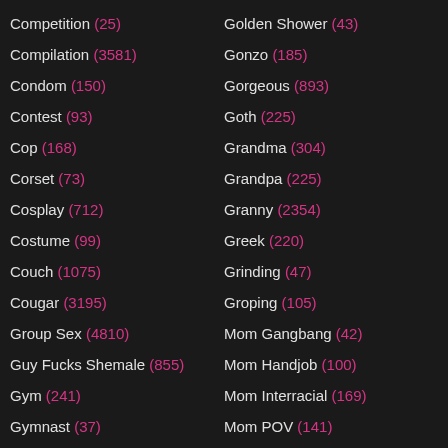Competition (25)
Compilation (3581)
Condom (150)
Contest (93)
Cop (168)
Corset (73)
Cosplay (712)
Costume (99)
Couch (1075)
Cougar (3195)
Group Sex (4810)
Guy Fucks Shemale (855)
Gym (241)
Gymnast (37)
Gyno (47)
Golden Shower (43)
Gonzo (185)
Gorgeous (893)
Goth (225)
Grandma (304)
Grandpa (225)
Granny (2354)
Greek (220)
Grinding (47)
Groping (105)
Mom Gangbang (42)
Mom Handjob (100)
Mom Interracial (169)
Mom POV (141)
Money (290)